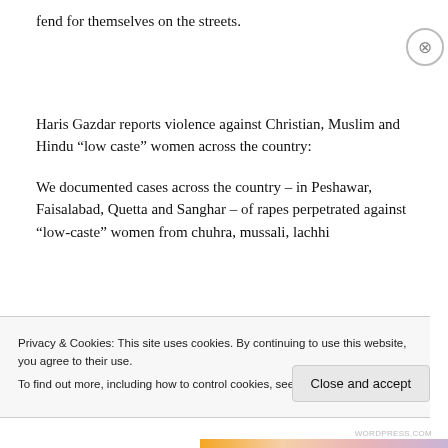fend for themselves on the streets.
Haris Gazdar reports violence against Christian, Muslim and Hindu “low caste” women across the country:
We documented cases across the country – in Peshawar, Faisalabad, Quetta and Sanghar – of rapes perpetrated against “low-caste” women from chuhra, mussali, lachhi
Privacy & Cookies: This site uses cookies. By continuing to use this website, you agree to their use.
To find out more, including how to control cookies, see here: Cookie Policy